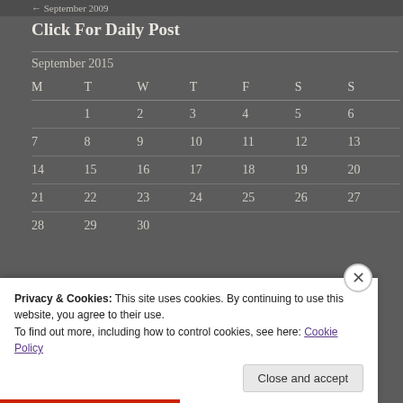← September 2009
Click For Daily Post
| M | T | W | T | F | S | S |
| --- | --- | --- | --- | --- | --- | --- |
|  | 1 | 2 | 3 | 4 | 5 | 6 |
| 7 | 8 | 9 | 10 | 11 | 12 | 13 |
| 14 | 15 | 16 | 17 | 18 | 19 | 20 |
| 21 | 22 | 23 | 24 | 25 | 26 | 27 |
| 28 | 29 | 30 |  |  |  |  |
« Aug   Oct »
Privacy & Cookies: This site uses cookies. By continuing to use this website, you agree to their use.
To find out more, including how to control cookies, see here: Cookie Policy
Close and accept